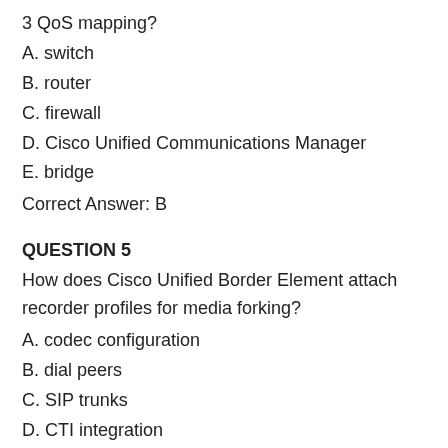3 QoS mapping?
A. switch
B. router
C. firewall
D. Cisco Unified Communications Manager
E. bridge
Correct Answer: B
QUESTION 5
How does Cisco Unified Border Element attach recorder profiles for media forking?
A. codec configuration
B. dial peers
C. SIP trunks
D. CTI integration